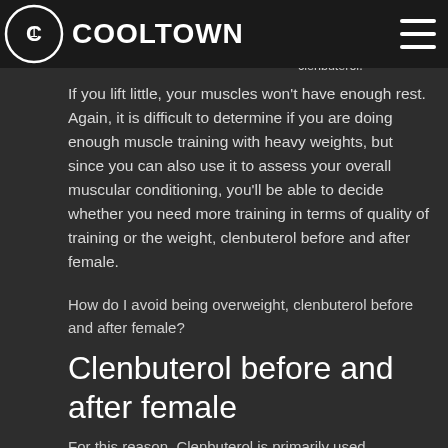COOLTOWN
If you lift the most you'll see, you'll be sore more muscles involved, using loss weight average clenbuterol.
If you lift little, your muscles won't have enough rest. Again, it is difficult to determine if you are doing enough muscle training with heavy weights, but since you can also use it to assess your overall muscular conditioning, you'll be able to decide whether you need more training in terms of quality of training or the weight, clenbuterol before and after female.
How do I avoid being overweight, clenbuterol before and after female?
Clenbuterol before and after female
For this reason, Clenbuterol is primarily used